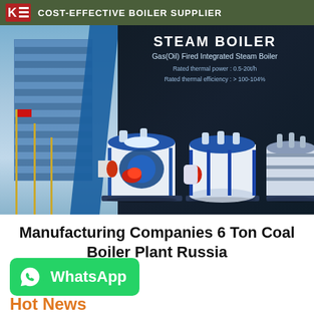COST-EFFECTIVE BOILER SUPPLIER
[Figure (photo): Banner advertisement showing steam boiler products. Left side: glass-facade building with flagpoles. Right side: text 'STEAM BOILER - Gas(Oil) Fired Integrated Steam Boiler - Rated thermal power: 0.5-20t/h - Rated thermal efficiency: > 100-104%'. Center/right: three industrial steam boilers in white and blue colors on dark background.]
Manufacturing Companies 6 Ton Coal Boiler Plant Russia
[Figure (logo): WhatsApp button with phone icon and text 'WhatsApp' in green rounded rectangle]
Hot News